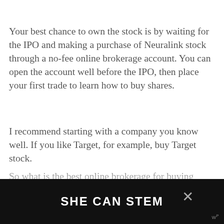Your best chance to own the stock is by waiting for the IPO and making a purchase of Neuralink stock through a no-fee online brokerage account. You can open the account well before the IPO, then place your first trade to learn how to buy shares.
I recommend starting with a company you know well. If you like Target, for example, buy Target stock.
So what is the best online brokerage for buying Neuralink stock?
As an individual investor, you'll want to open an account with a commission-free online broker. That way… d at waste
[Figure (other): Ad banner overlay reading 'SHE CAN STEM' in white bold text on black background, with a close X button and a small logo watermark in the bottom right.]